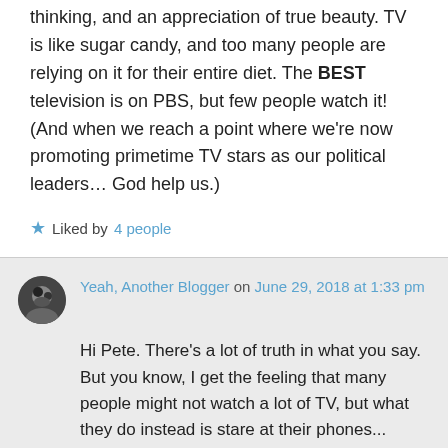thinking, and an appreciation of true beauty. TV is like sugar candy, and too many people are relying on it for their entire diet. The BEST television is on PBS, but few people watch it! (And when we reach a point where we're now promoting primetime TV stars as our political leaders… God help us.)
★ Liked by 4 people
Yeah, Another Blogger on June 29, 2018 at 1:33 pm
Hi Pete. There's a lot of truth in what you say. But you know, I get the feeling that many people might not watch a lot of TV, but what they do instead is stare at their phones... iPhones, or what have it...